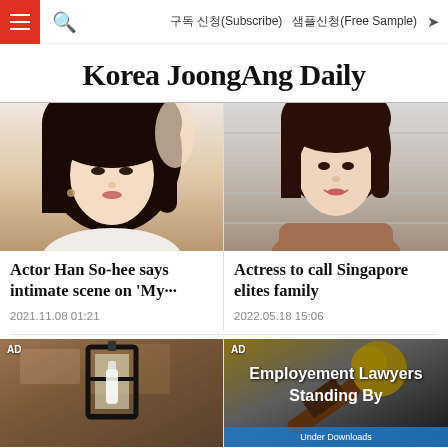≡  🔍   구독 신청(Subscribe)  샘플신청(Free Sample)  ➤
Korea JoongAng Daily
[Figure (photo): Photo of Actor Han So-hee, a Korean actress with dark long hair]
Actor Han So-hee says intimate scene on 'My…'
2021.11.08 01:21
[Figure (photo): Photo of a woman in brown top, smiling, with long dark hair]
Actress to call Singapore elites family
2022.05.18 15:06
[Figure (photo): AD - Advertisement image showing a lantern on a wall]
[Figure (photo): AD - Employment Lawyers Standing By advertisement with gavel image]